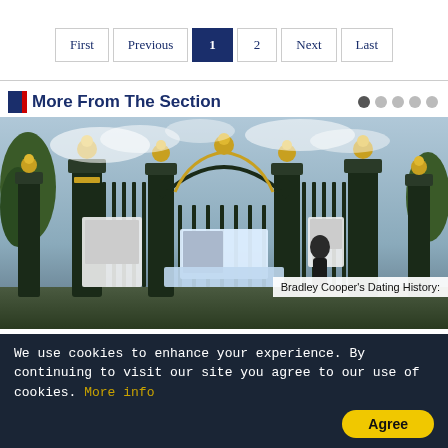[Figure (other): Pagination navigation bar with buttons: First, Previous, 1 (active/highlighted), 2, Next, Last]
More From The Section
[Figure (photo): Photo of ornate golden gates (likely Kensington Palace gates) decorated with Princess Diana memorial photos and banners, overcast sky in background]
Bradley Cooper's Dating History:
We use cookies to enhance your experience. By continuing to visit our site you agree to our use of cookies. More info